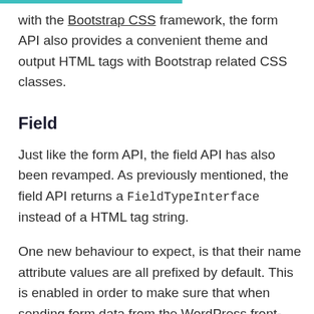with the Bootstrap CSS framework, the form API also provides a convenient theme and output HTML tags with Bootstrap related CSS classes.
Field
Just like the form API, the field API has also been revamped. As previously mentioned, the field API returns a FieldTypeInterface instead of a HTML tag string.
One new behaviour to expect, is that their name attribute values are all prefixed by default. This is enabled in order to make sure that when sending form data from the WordPress front-end, your form data does not conflict with restricted WordPress query